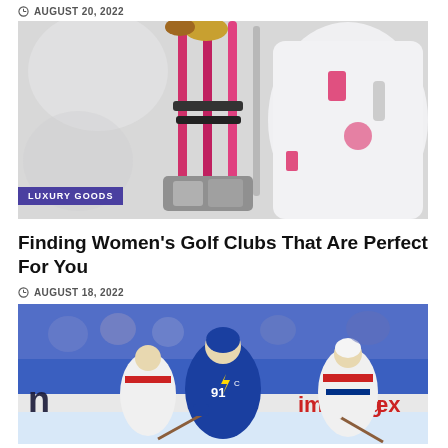AUGUST 20, 2022
[Figure (photo): Women's golf clubs with pink shafts in a white golf bag with pink accents, close-up view. A purple badge overlay reads LUXURY GOODS.]
Finding Women's Golf Clubs That Are Perfect For You
AUGUST 18, 2022
[Figure (photo): Ice hockey game action shot showing Tampa Bay Lightning players in blue uniforms competing against Montreal Canadiens players in white/red uniforms on the ice rink, with 'imaging' and 'n' sponsor boards visible in background.]